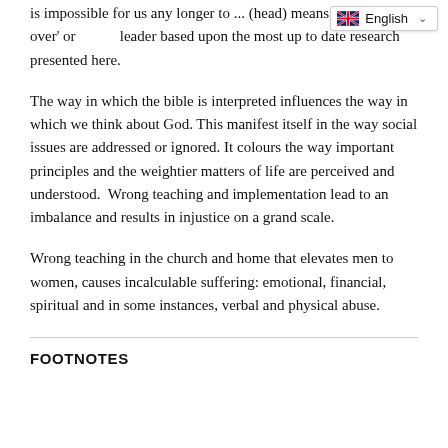is impossible for us any longer to ... (head) means 'authority over' or 'leader' based upon the most up to date research presented here.
The way in which the bible is interpreted influences the way in which we think about God. This manifest itself in the way social issues are addressed or ignored. It colours the way important principles and the weightier matters of life are perceived and understood. Wrong teaching and implementation lead to an imbalance and results in injustice on a grand scale.
Wrong teaching in the church and home that elevates men to women, causes incalculable suffering: emotional, financial, spiritual and in some instances, verbal and physical abuse.
FOOTNOTES